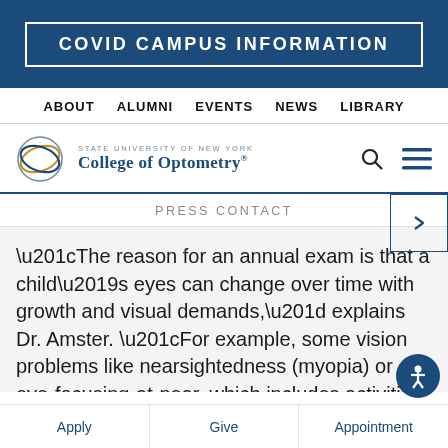COVID CAMPUS INFORMATION
ABOUT   ALUMNI   EVENTS   NEWS   LIBRARY
[Figure (logo): State University of New York College of Optometry logo with circular eye graphic and search/menu icons]
PRESS CONTACT
“The reason for an annual exam is that a child’s eyes can change over time with growth and visual demands,” explains Dr. Amster. “For example, some vision problems like nearsightedness (myopia) or eye-focusing-at-near, which includes activities such as reading, that were not present early on in development may appear when the child is older.”
Apply   Give   Appointment